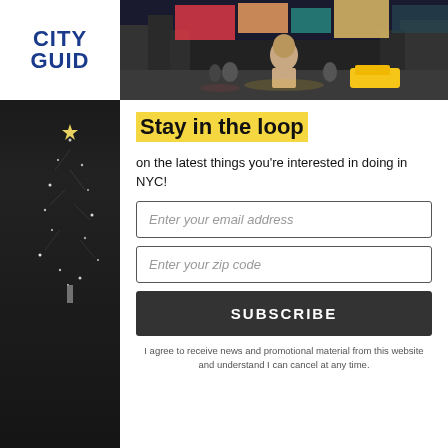[Figure (photo): City Guide logo in dark blue bold text on white background, top left]
[Figure (photo): Hero photo of Times Square NYC at night with bright colorful billboards and a man in a hoodie walking]
[Figure (photo): Dark left strip with sparkling Christmas tree decoration in black background]
Stay in the loop
on the latest things you're interested in doing in NYC!
Enter your email address
Enter your zip code
SUBSCRIBE
I agree to receive news and promotional material from this website and understand I can cancel at any time.